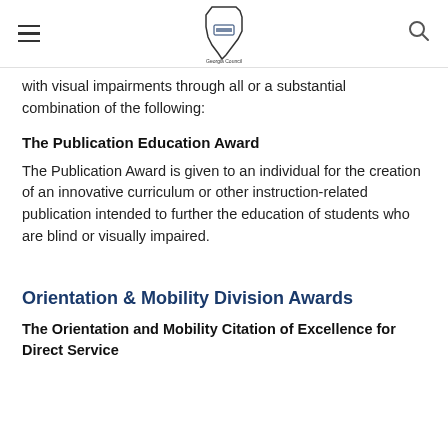Georgia Council for the Blind - navigation header
with visual impairments through all or a substantial combination of the following:
The Publication Education Award
The Publication Award is given to an individual for the creation of an innovative curriculum or other instruction-related publication intended to further the education of students who are blind or visually impaired.
Orientation & Mobility Division Awards
The Orientation and Mobility Citation of Excellence for Direct Service